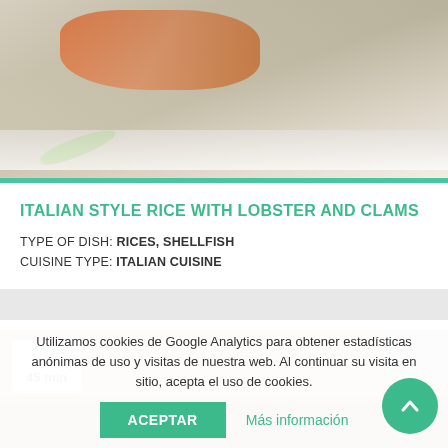[Figure (photo): Food photo showing a plated dish with orange-colored food and green drizzle sauce on a white plate, cropped at top]
ITALIAN STYLE RICE WITH LOBSTER AND CLAMS
TYPE OF DISH: RICES, SHELLFISH
CUISINE TYPE: ITALIAN CUISINE
[Figure (photo): Food photo showing a baked dish with golden crust, with a 45 min timer badge overlay in top left corner]
Utilizamos cookies de Google Analytics para obtener estadísticas anónimas de uso y visitas de nuestra web. Al continuar su visita en este sitio, acepta el uso de cookies.
ACEPTAR
Más información